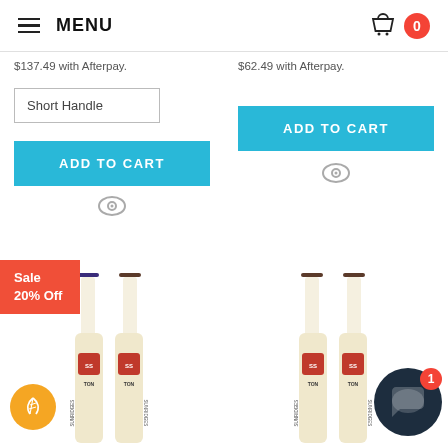MENU | Cart: 0
$137.49 with Afterpay.
$62.49 with Afterpay.
Short Handle
ADD TO CART
ADD TO CART
Sale 20% Off
[Figure (photo): Two SS TON Sunridges cricket bats standing upright, left product with Sale 20% Off badge and orange feather icon]
[Figure (photo): Two SS TON Sunridges cricket bats standing upright, right product with chat bubble overlay showing badge count 1]